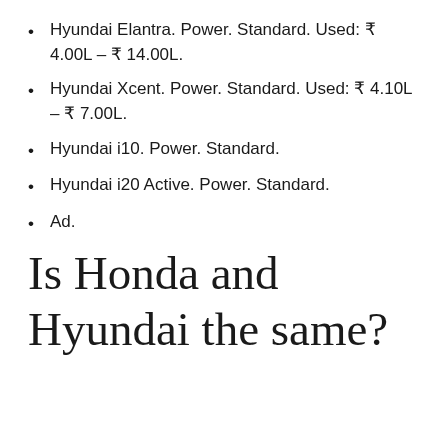Hyundai Elantra. Power. Standard. Used: ₹ 4.00L – ₹ 14.00L.
Hyundai Xcent. Power. Standard. Used: ₹ 4.10L – ₹ 7.00L.
Hyundai i10. Power. Standard.
Hyundai i20 Active. Power. Standard.
Ad.
Is Honda and Hyundai the same?